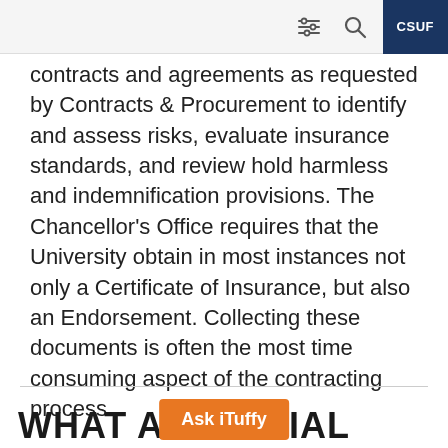CSUF
contracts and agreements as requested by Contracts & Procurement to identify and assess risks, evaluate insurance standards, and review hold harmless and indemnification provisions. The Chancellor's Office requires that the University obtain in most instances not only a Certificate of Insurance, but also an Endorsement. Collecting these documents is often the most time consuming aspect of the contracting process.
WHAT … SSENTIAL
Ask iTuffy